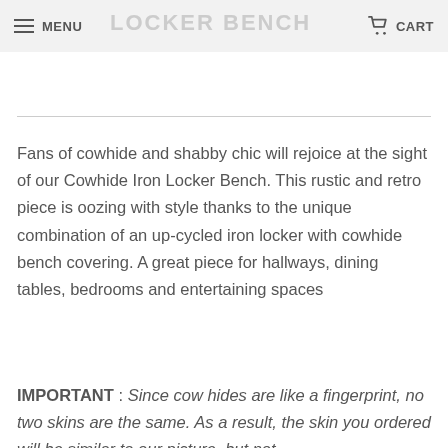MENU   LOCKER BENCH   CART
LOCKER BENCH
Fans of cowhide and shabby chic will rejoice at the sight of our Cowhide Iron Locker Bench. This rustic and retro piece is oozing with style thanks to the unique combination of an up-cycled iron locker with cowhide bench covering. A great piece for hallways, dining tables, bedrooms and entertaining spaces
IMPORTANT : Since cow hides are like a fingerprint, no two skins are the same. As a result, the skin you ordered will be similar to our picture, but not